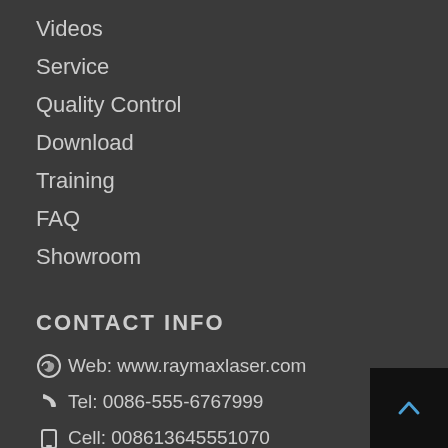Videos
Service
Quality Control
Download
Training
FAQ
Showroom
CONTACT INFO
Web: www.raymaxlaser.com
Tel: 0086-555-6767999
Cell: 008613645551070
Email: info@raymaxlaser.com